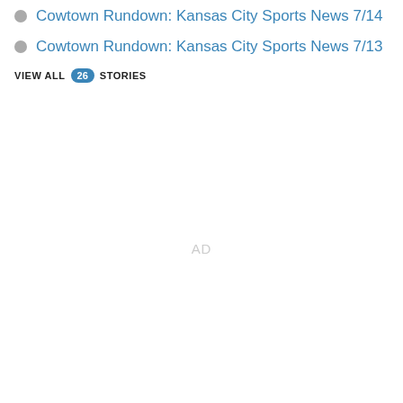Cowtown Rundown: Kansas City Sports News 7/14
Cowtown Rundown: Kansas City Sports News 7/13
VIEW ALL 26 STORIES
AD